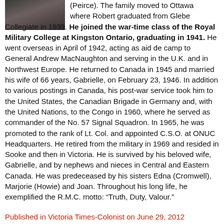[Figure (photo): Small portrait photograph, partially visible at top-left corner of the page]
(Peirce). The family moved to Ottawa where Robert graduated from Glebe Collegiate in 1939. He joined the war-time class of the Royal Military College at Kingston Ontario, graduating in 1941. He went overseas in April of 1942, acting as aid de camp to General Andrew MacNaughton and serving in the U.K. and in Northwest Europe. He returned to Canada in 1945 and married his wife of 66 years, Gabrielle, on February 23, 1946. In addition to various postings in Canada, his post-war service took him to the United States, the Canadian Brigade in Germany and, with the United Nations, to the Congo in 1960, where he served as commander of the No. 57 Signal Squadron. In 1965, he was promoted to the rank of Lt. Col. and appointed C.S.O. at ONUC Headquarters. He retired from the military in 1969 and resided in Sooke and then in Victoria. He is survived by his beloved wife, Gabrielle, and by nephews and nieces in Central and Eastern Canada. He was predeceased by his sisters Edna (Cromwell), Marjorie (Howie) and Joan. Throughout his long life, he exemplified the R.M.C. motto: “Truth, Duty, Valour.”
Published in Victoria Times-Colonist on June 29, 2012